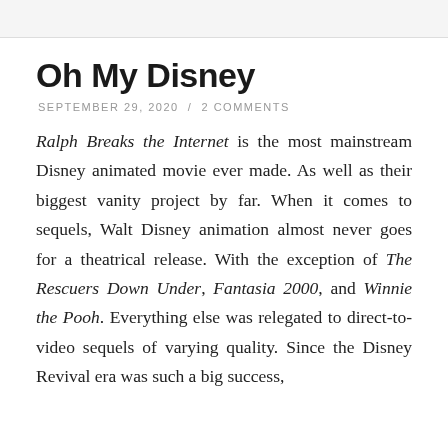Oh My Disney
SEPTEMBER 29, 2020 / 2 COMMENTS
Ralph Breaks the Internet is the most mainstream Disney animated movie ever made. As well as their biggest vanity project by far. When it comes to sequels, Walt Disney animation almost never goes for a theatrical release. With the exception of The Rescuers Down Under, Fantasia 2000, and Winnie the Pooh. Everything else was relegated to direct-to-video sequels of varying quality. Since the Disney Revival era was such a big success,